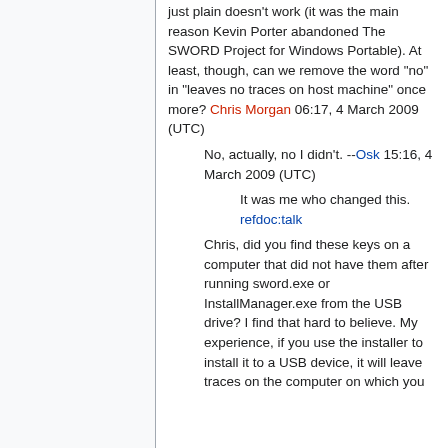just plain doesn't work (it was the main reason Kevin Porter abandoned The SWORD Project for Windows Portable). At least, though, can we remove the word "no" in "leaves no traces on host machine" once more? Chris Morgan 06:17, 4 March 2009 (UTC)
No, actually, no I didn't. --Osk 15:16, 4 March 2009 (UTC)
It was me who changed this. refdoc:talk
Chris, did you find these keys on a computer that did not have them after running sword.exe or InstallManager.exe from the USB drive? I find that hard to believe. My experience, if you use the installer to install it to a USB device, it will leave traces on the computer on which you